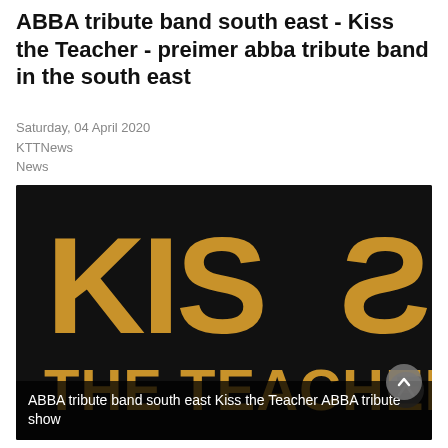ABBA tribute band south east - Kiss the Teacher - preimer abba tribute band in the south east
Saturday, 04 April 2020
KTTNews
News
[Figure (photo): Black background image with large gold bold text reading 'KISS THE TEACHER' — a band logo for an ABBA tribute band called Kiss the Teacher]
ABBA tribute band south east Kiss the Teacher ABBA tribute show